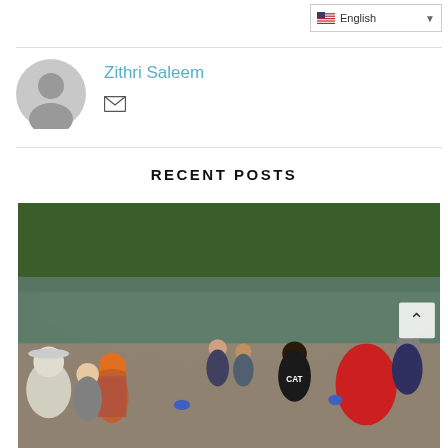[Figure (screenshot): Language selector dropdown showing English with US flag in top right corner]
[Figure (illustration): Gray circular avatar/profile icon placeholder]
Zithri Saleem
[Figure (other): Email icon (envelope)]
RECENT POSTS
[Figure (photo): Outdoor group photo of students and adults near a pond/lake, engaged in an activity, some wearing hats and gloves, trees in background]